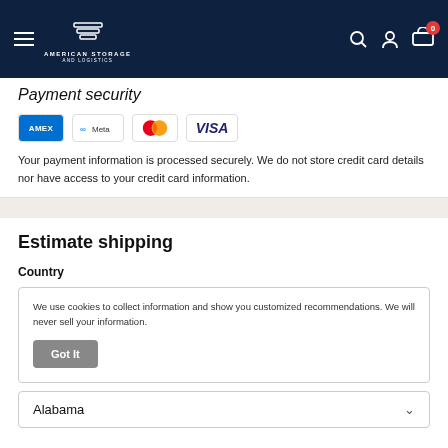American Storage and Logistics - navigation header
Payment security
[Figure (logo): Payment method icons: American Express (AMEX), Meta, Mastercard, Visa]
Your payment information is processed securely. We do not store credit card details nor have access to your credit card information.
Estimate shipping
Country
We use cookies to collect information and show you customized recommendations. We will never sell your information.
Got It
Alabama